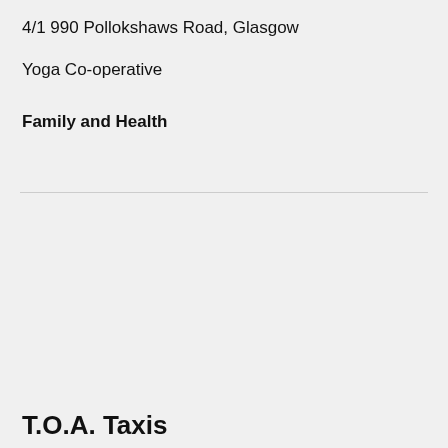4/1 990 Pollokshaws Road, Glasgow
Yoga Co-operative
Family and Health
T.O.A. Taxis
Birmingham Black Cabs, T O A Taxis
100 Vivian Road
Harborne, Birmingham
T.O.A. Taxis have been serving the people of Birmingham, the West Midlands and its visitors since its establishment in 1961 as a Taxi Owners Association.
Travel